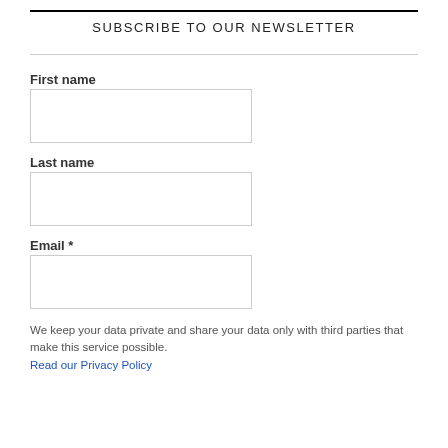SUBSCRIBE TO OUR NEWSLETTER
First name
Last name
Email *
We keep your data private and share your data only with third parties that make this service possible. Read our Privacy Policy